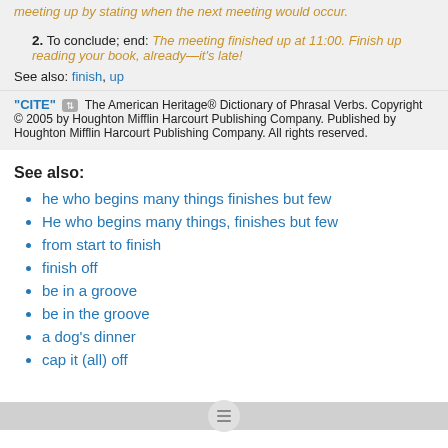meeting up by stating when the next meeting would occur.
2. To conclude; end: The meeting finished up at 11:00. Finish up reading your book, already—it's late!
See also: finish, up
"CITE" [link icon] The American Heritage® Dictionary of Phrasal Verbs. Copyright © 2005 by Houghton Mifflin Harcourt Publishing Company. Published by Houghton Mifflin Harcourt Publishing Company. All rights reserved.
See also:
he who begins many things finishes but few
He who begins many things, finishes but few
from start to finish
finish off
be in a groove
be in the groove
a dog's dinner
cap it (all) off